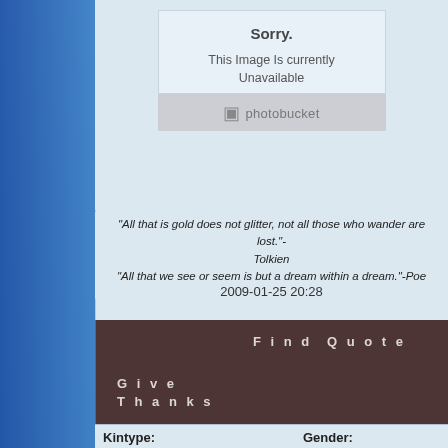[Figure (screenshot): Photobucket image unavailable placeholder showing 'Sorry. This Image Is currently Unavailable' with photobucket logo bar]
"All that is gold does not glitter, not all those who wander are lost."-Tolkien
"All that we see or seem is but a dream within a dream."-Poe
2009-01-25 20:28
Find   Quote
Give
Thanks
House Hesson
cat slave
[Figure (photo): Photo of an origami or paper craft bird/creature being held by fingers against dark background]
Kintype:
Gender: